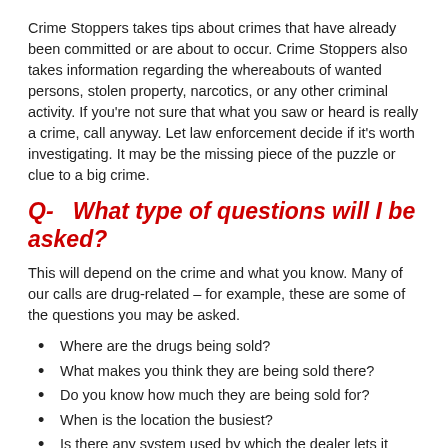Crime Stoppers takes tips about crimes that have already been committed or are about to occur. Crime Stoppers also takes information regarding the whereabouts of wanted persons, stolen property, narcotics, or any other criminal activity. If you’re not sure that what you saw or heard is really a crime, call anyway. Let law enforcement decide if it’s worth investigating. It may be the missing piece of the puzzle or clue to a big crime.
Q-  What type of questions will I be asked?
This will depend on the crime and what you know. Many of our calls are drug-related – for example, these are some of the questions you may be asked.
Where are the drugs being sold?
What makes you think they are being sold there?
Do you know how much they are being sold for?
When is the location the busiest?
Is there any system used by which the dealer lets it know that they are ‘open for business’ e.g. a bedroom light on?